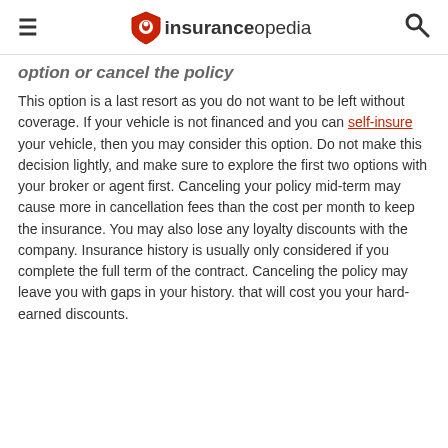insuranceopedia
option or cancel the policy
This option is a last resort as you do not want to be left without coverage. If your vehicle is not financed and you can self-insure your vehicle, then you may consider this option. Do not make this decision lightly, and make sure to explore the first two options with your broker or agent first. Canceling your policy mid-term may cause more in cancellation fees than the cost per month to keep the insurance. You may also lose any loyalty discounts with the company. Insurance history is usually only considered if you complete the full term of the contract. Canceling the policy may leave you with gaps in your history. that will cost you your hard-earned discounts.